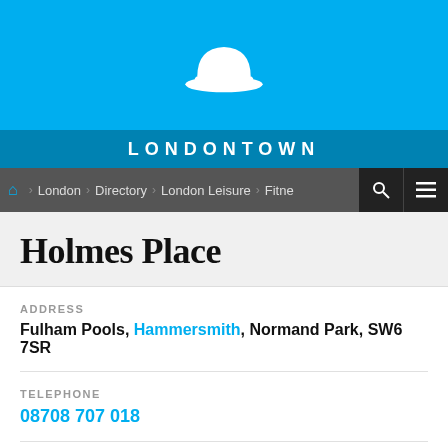[Figure (logo): White bowler hat icon on bright blue background — LondonTown website header logo]
LONDONTOWN
London > Directory > London Leisure > Fitne... [search] [menu]
Holmes Place
ADDRESS
Fulham Pools, Hammersmith, Normand Park, SW6 7SR
TELEPHONE
08708 707 018
NEARBY
Hotels, Entertainment, Sights and Attractions, Shopping,